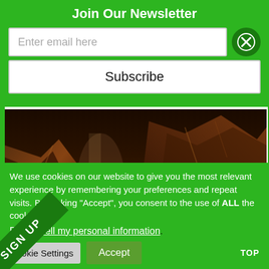Join Our Newsletter
Enter email here
Subscribe
[Figure (photo): Dark rocky landscape/cliffside with reddish-brown stone textures in dramatic lighting]
Images by Coldhouse Collective
We use cookies on our website to give you the most relevant experience by remembering your preferences and repeat visits. By clicking “Accept”, you consent to the use of ALL the cookies.
Do not sell my personal information.
Cookie Settings
Accept
TOP
SIGN UP